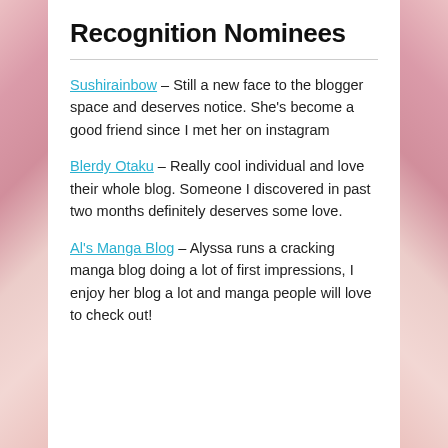Recognition Nominees
Sushirainbow – Still a new face to the blogger space and deserves notice. She's become a good friend since I met her on instagram
Blerdy Otaku – Really cool individual and love their whole blog. Someone I discovered in past two months definitely deserves some love.
Al's Manga Blog – Alyssa runs a cracking manga blog doing a lot of first impressions, I enjoy her blog a lot and manga people will love to check out!